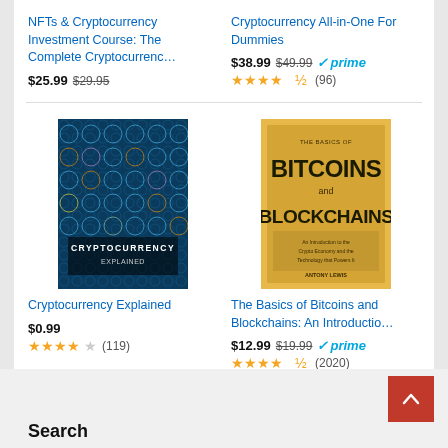NFTs & Cryptocurrency Investment Course: The Complete Cryptocurrenc…
$25.99 $29.95
Cryptocurrency All-in-One For Dummies
$38.99 $49.99 prime (96)
[Figure (photo): Book cover: Cryptocurrency Explained]
Cryptocurrency Explained
$0.99
4 stars out of 5 (119)
[Figure (photo): Book cover: The Basics of Bitcoins and Blockchains — yellow cover]
The Basics of Bitcoins and Blockchains: An Introductio…
$12.99 $19.99 prime (2020)
Ads by Amazon
Search